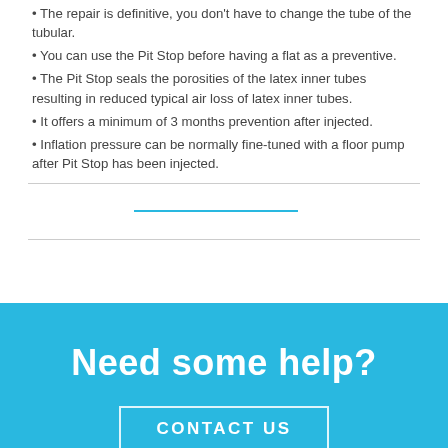• The repair is definitive, you don't have to change the tube of the tubular.
• You can use the Pit Stop before having a flat as a preventive.
• The Pit Stop seals the porosities of the latex inner tubes resulting in reduced typical air loss of latex inner tubes.
• It offers a minimum of 3 months prevention after injected.
• Inflation pressure can be normally fine-tuned with a floor pump after Pit Stop has been injected.
Need some help?
CONTACT US